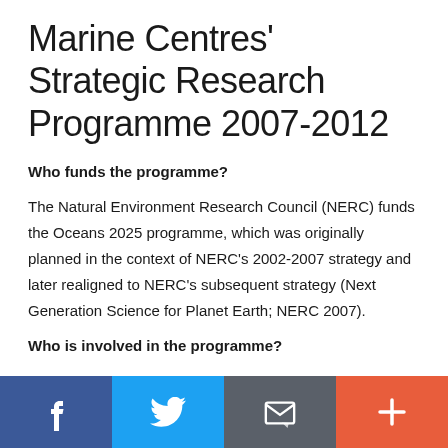Marine Centres' Strategic Research Programme 2007-2012
Who funds the programme?
The Natural Environment Research Council (NERC) funds the Oceans 2025 programme, which was originally planned in the context of NERC's 2002-2007 strategy and later realigned to NERC's subsequent strategy (Next Generation Science for Planet Earth; NERC 2007).
Who is involved in the programme?
[Figure (infographic): Social media sharing bar with four buttons: Facebook (blue), Twitter (light blue), Email/envelope (dark grey), and a plus/more button (coral/red-orange)]